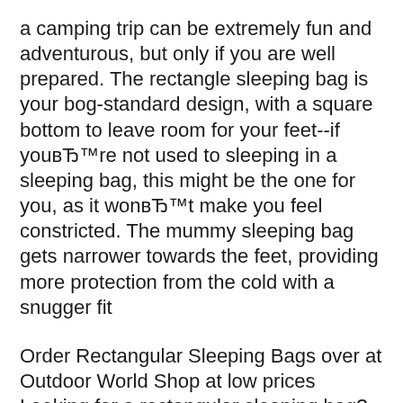a camping trip can be extremely fun and adventurous, but only if you are well prepared. The rectangle sleeping bag is your bog-standard design, with a square bottom to leave room for your feet--if youвЂ™re not used to sleeping in a sleeping bag, this might be the one for you, as it wonвЂ™t make you feel constricted. The mummy sleeping bag gets narrower towards the feet, providing more protection from the cold with a snugger fit
Order Rectangular Sleeping Bags over at Outdoor World Shop at low prices Looking for a rectangular sleeping bag? Our team of experts narrowed down the best rectangular sleeping bags on the